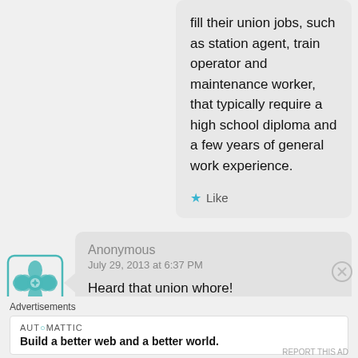fill their union jobs, such as station agent, train operator and maintenance worker, that typically require a high school diploma and a few years of general work experience.
★ Like
[Figure (illustration): Teal geometric flower/mandala avatar icon]
Anonymous
July 29, 2013 at 6:37 PM

Heard that union whore!
Advertisements
AUTOMATTIC
Build a better web and a better world.
REPORT THIS AD